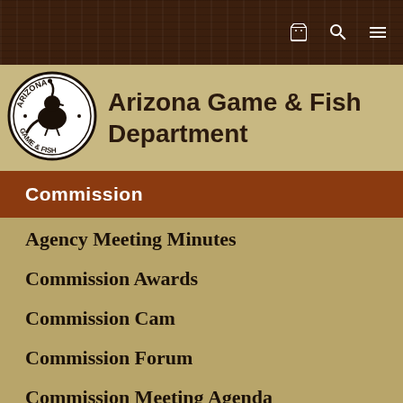[Figure (logo): Arizona Game & Fish Department circular logo with bird silhouette]
Arizona Game & Fish Department
Commission
Agency Meeting Minutes
Commission Awards
Commission Cam
Commission Forum
Commission Meeting Agenda
Commission Meeting Schedule
Commission Members
Governors Commission Board